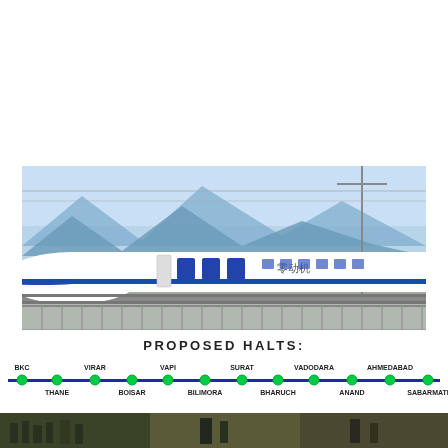[Figure (photo): High-speed bullet train (white with blue stripe) on an elevated track with mountains and blue sky in the background]
PROPOSED HALTS:
[Figure (infographic): Map/diagram showing proposed halts along the high-speed rail route: BKC, THANE, VIRAR, BOISAR, VAPI, BILIMORA, SURAT, BHARUCH, VADODARA, ANAND, AHMEDABAD, SABARMATI — with green dots on a blue line]
[Figure (photo): Bottom strip photo, appears to show construction or crowd scene]